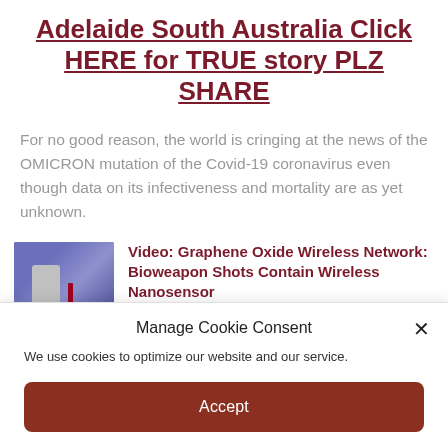Adelaide South Australia Click HERE for TRUE story PLZ SHARE
For no good reason, the world is cringing at the news of the OMICRON mutation of the Covid-19 coronavirus even though data on its infectiveness and mortality are as yet unknown.
[Figure (photo): Small thumbnail image of a person, likely a video thumbnail with a blue/purple background]
Video: Graphene Oxide Wireless Network: Bioweapon Shots Contain Wireless Nanosensor
Manage Cookie Consent
We use cookies to optimize our website and our service.
Accept